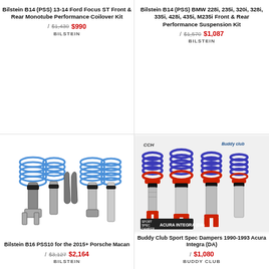Bilstein B14 (PSS) 13-14 Ford Focus ST Front & Rear Monotube Performance Coilover Kit
/ $1,430 $990
BILSTEIN
Bilstein B14 (PSS) BMW 228i, 235i, 320i, 328i, 335i, 428i, 435i, M235i Front & Rear Performance Suspension Kit
/ $1,570 $1,087
BILSTEIN
[Figure (photo): Bilstein B16 PSS10 coilover kit for 2015+ Porsche Macan showing blue spring monotube assemblies]
[Figure (photo): Buddy Club Sport Spec Dampers coilover set for 1990-1993 Acura Integra (DA) with red and blue springs, four units shown]
Bilstein B16 PSS10 for the 2015+ Porsche Macan
/ $3,127 $2,164
BILSTEIN
Buddy Club Sport Spec Dampers 1990-1993 Acura Integra (DA)
/ $1,080
BUDDY CLUB